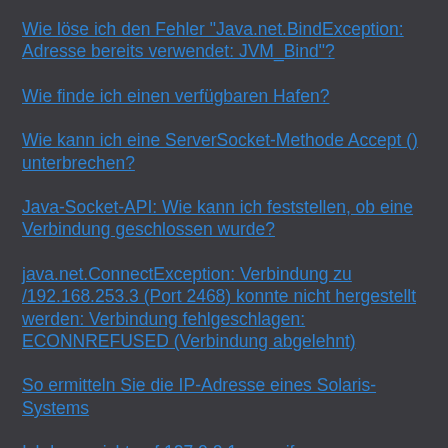Wie löse ich den Fehler "Java.net.BindException: Adresse bereits verwendet: JVM_Bind"?
Wie finde ich einen verfügbaren Hafen?
Wie kann ich eine ServerSocket-Methode Accept () unterbrechen?
Java-Socket-API: Wie kann ich feststellen, ob eine Verbindung geschlossen wurde?
java.net.ConnectException: Verbindung zu /192.168.253.3 (Port 2468) konnte nicht hergestellt werden: Verbindung fehlgeschlagen: ECONNREFUSED (Verbindung abgelehnt)
So ermitteln Sie die IP-Adresse eines Solaris-Systems
Ich kann nicht auf 127.0.0.1 zugreifen
Java erhält meine IP-Adresse